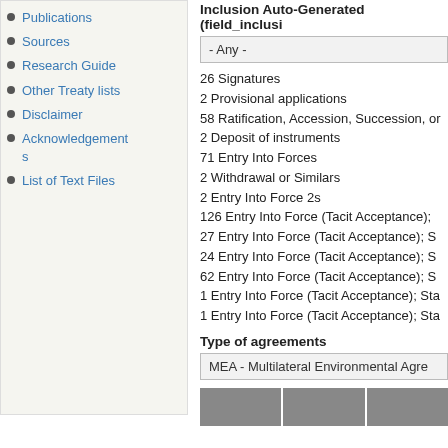Publications
Sources
Research Guide
Other Treaty lists
Disclaimer
Acknowledgements
List of Text Files
Inclusion Auto-Generated (field_inclu...
- Any -
26 Signatures
2 Provisional applications
58 Ratification, Accession, Succession, or...
2 Deposit of instruments
71 Entry Into Forces
2 Withdrawal or Similars
2 Entry Into Force 2s
126 Entry Into Force (Tacit Acceptance);...
27 Entry Into Force (Tacit Acceptance); S...
24 Entry Into Force (Tacit Acceptance); S...
62 Entry Into Force (Tacit Acceptance); S...
1 Entry Into Force (Tacit Acceptance); Sta...
1 Entry Into Force (Tacit Acceptance); Sta...
Type of agreements
MEA - Multilateral Environmental Agre...
[Figure (table-as-image): Gray table header row with three columns]